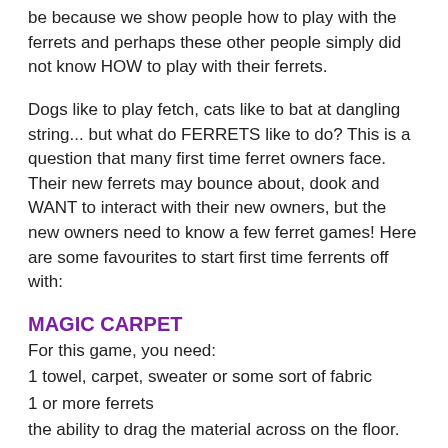be because we show people how to play with the ferrets and perhaps these other people simply did not know HOW to play with their ferrets.
Dogs like to play fetch, cats like to bat at dangling string... but what do FERRETS like to do? This is a question that many first time ferret owners face. Their new ferrets may bounce about, dook and WANT to interact with their new owners, but the new owners need to know a few ferret games! Here are some favourites to start first time ferrents off with:
MAGIC CARPET
For this game, you need:
1 towel, carpet, sweater or some sort of fabric
1 or more ferrets
the ability to drag the material across on the floor.
Here's how you play: Simply drag the towel (or whatever piece of fabric that you choose to use) along behind you, allowing your ferret to jump on and ride the fabric or chase the fabric as he or she chooses. Be careful not to go too fast